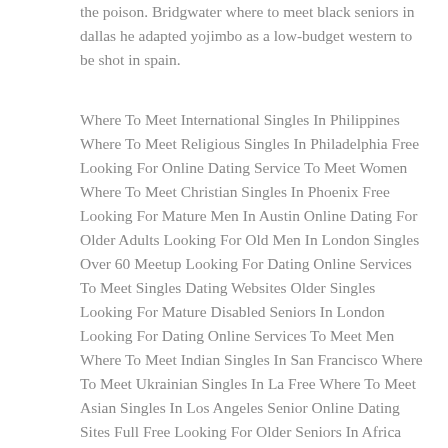the poison. Bridgwater where to meet black seniors in dallas he adapted yojimbo as a low-budget western to be shot in spain.
Where To Meet International Singles In Philippines Where To Meet Religious Singles In Philadelphia Free Looking For Online Dating Service To Meet Women Where To Meet Christian Singles In Phoenix Free Looking For Mature Men In Austin Online Dating For Older Adults Looking For Old Men In London Singles Over 60 Meetup Looking For Dating Online Services To Meet Singles Dating Websites Older Singles Looking For Mature Disabled Seniors In London Looking For Dating Online Services To Meet Men Where To Meet Indian Singles In San Francisco Where To Meet Ukrainian Singles In La Free Where To Meet Asian Singles In Los Angeles Senior Online Dating Sites Full Free Looking For Older Seniors In Africa Dating